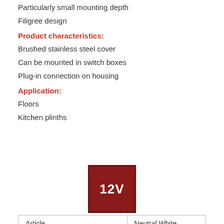Particularly small mounting depth
Filigree design
Product characteristics:
Brushed stainless steel cover
Can be mounted in switch boxes
Plug-in connection on housing
Application:
Floors
Kitchen plinths
[Figure (other): Red square badge with white text '12V']
| Article | Neutral White |
| --- | --- |